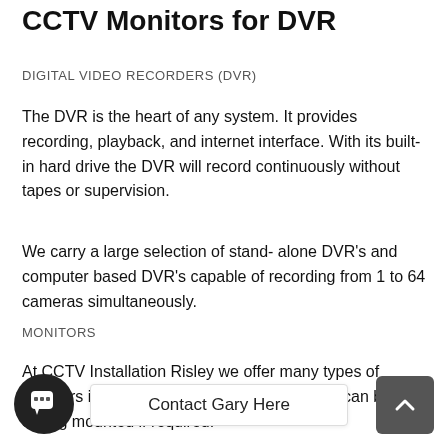CCTV Monitors for DVR
DIGITAL VIDEO RECORDERS (DVR)
The DVR is the heart of any system. It provides recording, playback, and internet interface. With its built-in hard drive the DVR will record continuously without tapes or supervision.
We carry a large selection of stand- alone DVR's and computer based DVR's capable of recording from 1 to 64 cameras simultaneously.
MONITORS
At CCTV Installation Risley we offer many types of monitors including 4K LCD flatscreens which can be ceiling mounted if required.